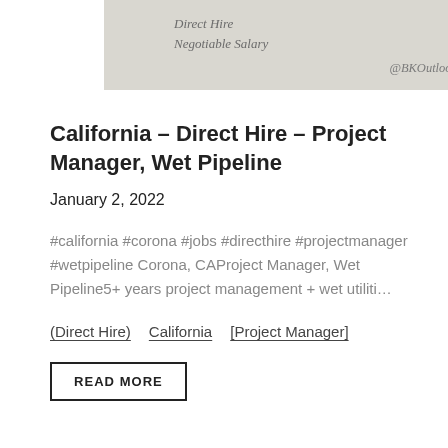[Figure (other): A light gray card/banner with italic text 'Direct Hire' and 'Negotiable Salary' on the left, and '@BKOutlooks' on the lower right.]
California – Direct Hire – Project Manager, Wet Pipeline
January 2, 2022
#california #corona #jobs #directhire #projectmanager #wetpipeline Corona, CAProject Manager, Wet Pipeline5+ years project management + wet utiliti…
(Direct Hire)   California   [Project Manager]
READ MORE